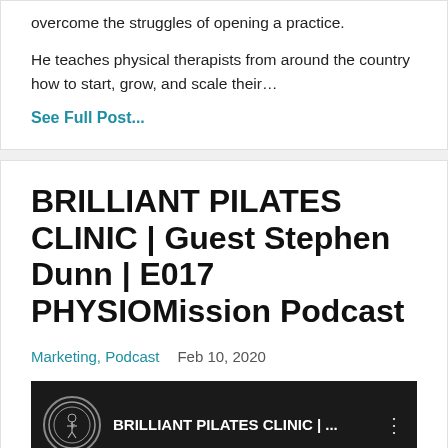overcome the struggles of opening a practice.
He teaches physical therapists from around the country how to start, grow, and scale their…
See Full Post...
BRILLIANT PILATES CLINIC | Guest Stephen Dunn | E017 PHYSIOMission Podcast
Marketing, Podcast   Feb 10, 2020
[Figure (screenshot): Video thumbnail showing a dark background with a circular logo on the left, text 'BRILLIANT PILATES CLINIC | ...' in white, and a three-dot menu icon on the right. Below the logo area reads 'ION podcast'.]